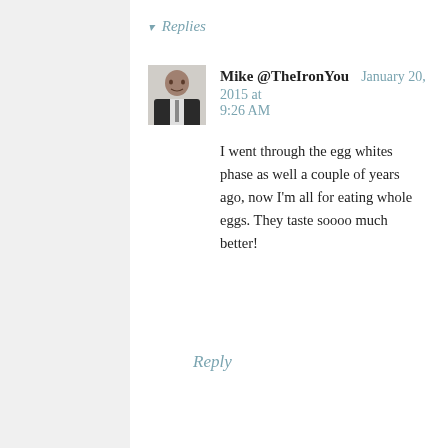▾ Replies
[Figure (photo): Black and white headshot photo of a man in a suit and tie]
Mike @TheIronYou    January 20, 2015 at 9:26 AM
I went through the egg whites phase as well a couple of years ago, now I'm all for eating whole eggs. They taste soooo much better!
Reply